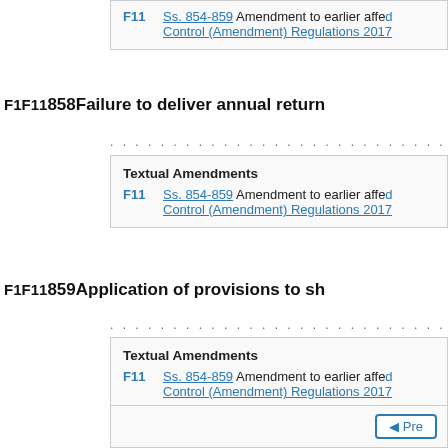| Code | Description |
| --- | --- |
| F11 | Ss. 854-859 Amendment to earlier affecting provision S.I. 2017/... Control (Amendment) Regulations 2017 |
F1 F11 858 Failure to deliver annual return
. . . . . . . . . . . . . . . . . . . . . . . . . . . .
|  | Textual Amendments |
| --- | --- |
| F11 | Ss. 854-859 Amendment to earlier affecting provision S.I. 2017/... Control (Amendment) Regulations 2017 |
F1 F11 859 Application of provisions to sh...
. . . . . . . . . . . . . . . . . . . . . . . . . . . .
|  | Textual Amendments |
| --- | --- |
| F11 | Ss. 854-859 Amendment to earlier affecting provision S.I. 2017/... Control (Amendment) Regulations 2017 |
Prev